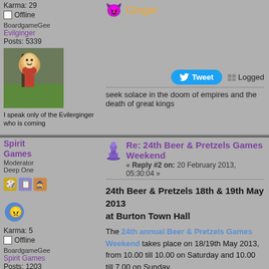Karma: 29
Offline
BoardgameGeek
Evilginger
Posts: 5339
[Figure (photo): Avatar photo of a gnome/garden figure on grass]
I speak only of the Evilerginger who is coming
Evilginger (username with devil emoji)
Tweet  Logged
seek solace in the doom of empires and the death of great kings
Spirit Games
Moderator
Deep One
Karma: 5
Offline
BoardgameGeek
Spirit Games
Posts: 1203
Re: 24th Beer & Pretzels Games Weekend
« Reply #2 on: 20 February 2013, 05:30:04 »
24th Beer & Pretzels 18th & 19th May 2013 at Burton Town Hall
The 24th annual Beer & Pretzels Games Weekend takes place on 18/19th May 2013, from 10.00 till 10.00 on Saturday and 10.00 till 7.00 on Sunday.
The venue is the Town Hall, Burton on Trent, Staffs...